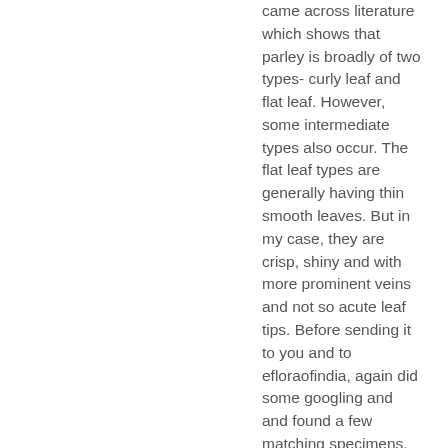came across literature which shows that parley is broadly of two types- curly leaf and flat leaf. However, some intermediate types also occur. The flat leaf types are generally having thin smooth leaves. But in my case, they are crisp, shiny and with more prominent veins and not so acute leaf tips. Before sending it to you and to efloraofindia, again did some googling and and found a few matching specimens.